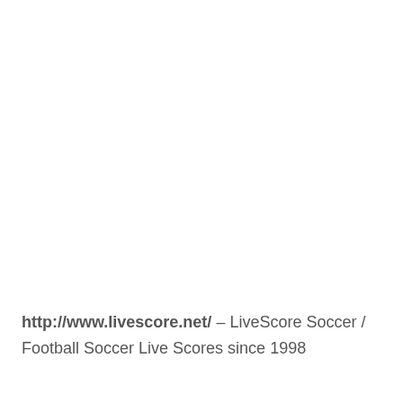http://www.livescore.net/ – LiveScore Soccer / Football Soccer Live Scores since 1998